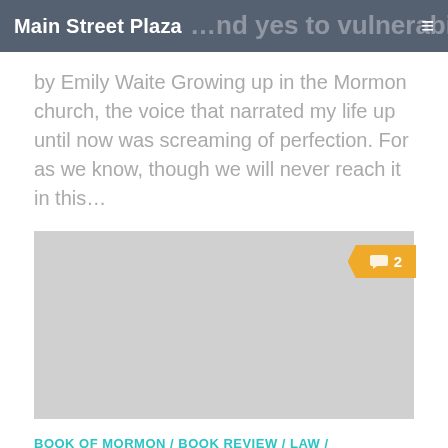Main Street Plaza
by Emily Waite Growing up in the Mormon church, the voice that narrated my life up until now was screaming of perfection. For as we know, though we will never reach it in this...
[Figure (photo): Gray placeholder image with a comment badge showing '2' in orange/yellow]
BOOK OF MORMON / BOOK REVIEW / LAW / LITERATURE / MORMON CULTURE / UTAH